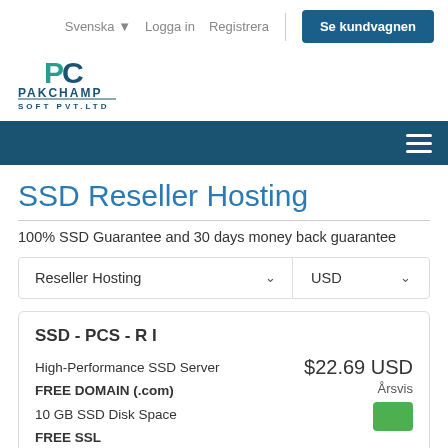Svenska  Logga in  Registrera  Se kundvagnen
[Figure (logo): PakChamp Soft Pvt. Ltd. logo with teal/dark PC letters]
SSD Reseller Hosting
100% SSD Guarantee and 30 days money back guarantee
Reseller Hosting  |  USD
SSD - PCS - R I
High-Performance SSD Server
FREE DOMAIN (.com)
10 GB SSD Disk Space
FREE SSL
$22.69 USD
Årsvis